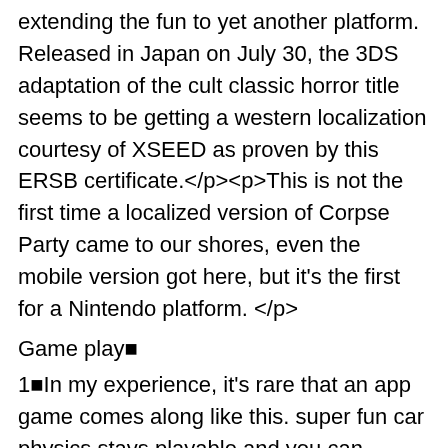extending the fun to yet another platform. Released in Japan on July 30, the 3DS adaptation of the cult classic horror title seems to be getting a western localization courtesy of XSEED as proven by this ERSB certificate.</p><p>This is not the first time a localized version of Corpse Party came to our shores, even the mobile version got here, but it's the first for a Nintendo platform.</p>
Game play■
1■In my experience, it's rare that an app game comes along like this. super fun car physics stays playable and you can consistently work towards upgrades without having to pay. it gives you ads you can watch to refill fuel for multiplayer. online events are actually involved. and there's really good time attack grip racing too a couple of tips id give is to immediately try different control options in the settings. the hand brake is super useful, throttle slider is useful to learn with.◆